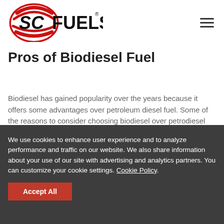[Figure (logo): SC Fuels logo with red swoosh graphic and bold black text]
Pros of Biodiesel Fuel
Biodiesel has gained popularity over the years because it offers some advantages over petroleum diesel fuel. Some of the reasons to consider choosing biodiesel over petrodiesel include:
We use cookies to enhance user experience and to analyze performance and traffic on our website. We also share information about your use of our site with advertising and analytics partners. You can customize your cookie settings. Cookie Policy.